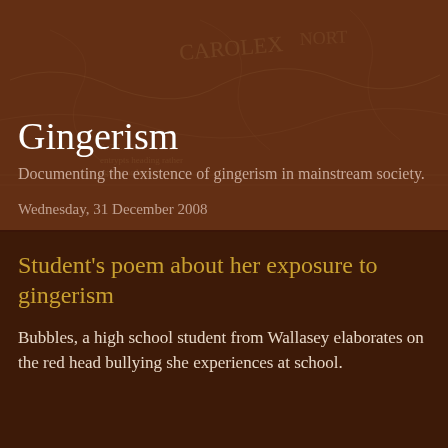Gingerism
Documenting the existence of gingerism in mainstream society.
Wednesday, 31 December 2008
Student's poem about her exposure to gingerism
Bubbles, a high school student from Wallasey elaborates on the red head bullying she experiences at school.